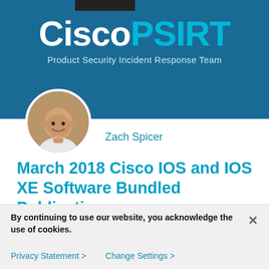[Figure (logo): CiscoPSIRT logo banner with dark blue background. Text reads 'CiscoPSIRT' with 'Cisco' in white and 'PSIRT' in cyan, subtitle 'Product Security Incident Response Team' in light blue.]
[Figure (photo): Circular profile photo of Zach Spicer, a bald man smiling, wearing a white shirt.]
Zach Spicer
March 2018 Cisco IOS and IOS XE Software Bundled Publication
Today, we released the first Cisco IOS and IOS XE Software Security Advisory Bundled Publication of 2018.
By continuing to use our website, you acknowledge the use of cookies.
Privacy Statement >    Change Settings >